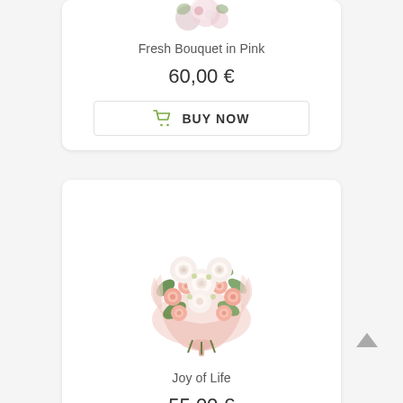[Figure (photo): Top portion of a flower product card showing the bottom of a pink bouquet image (cropped)]
Fresh Bouquet in Pink
60,00 €
BUY NOW
[Figure (photo): Pink and white rose bouquet wrapped in pink tissue paper and ribbon — 'Joy of Life' product]
Joy of Life
55,00 €